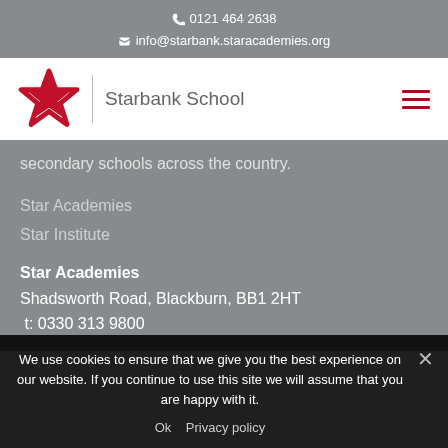0121 464 2638
info@starbank.staracademies.org
[Figure (logo): Starbank School logo: red star-shaped badge with 'Starbank School' text]
secondary schools across the country.
Star Academies
Star Institute
Star Academies
Shadsworth Road, Blackburn, BB1 2HT
t: 0330 313 9800
We use cookies to ensure that we give you the best experience on our website. If you continue to use this site we will assume that you are happy with it.
Ok   Privacy policy